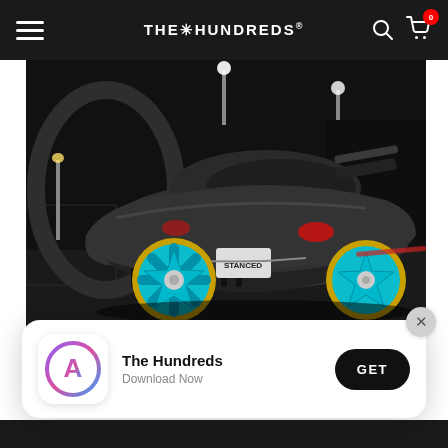THE HUNDREDS
[Figure (photo): A modified dark grey Fiat 500 Abarth with teal/cyan star-spoke wheels with gold lips, shot from the rear-quarter angle at night under a bridge with dramatic lighting. The car sits very low on its suspension.]
[Figure (screenshot): App download banner: App Store icon on left, 'The Hundreds / Download Now' text in center, black GET button on right, with an X close button in the top-right corner.]